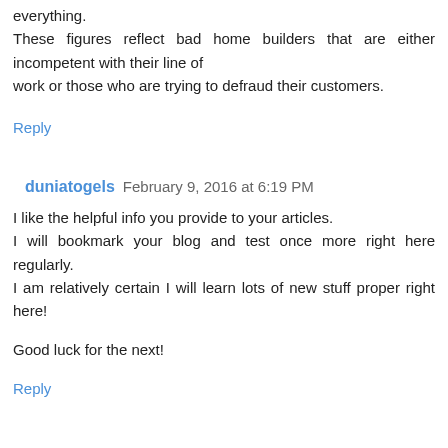everything.
These figures reflect bad home builders that are either incompetent with their line of work or those who are trying to defraud their customers.
Reply
duniatogels  February 9, 2016 at 6:19 PM
I like the helpful info you provide to your articles.
I will bookmark your blog and test once more right here regularly.
I am relatively certain I will learn lots of new stuff proper right here!
Good luck for the next!
Reply